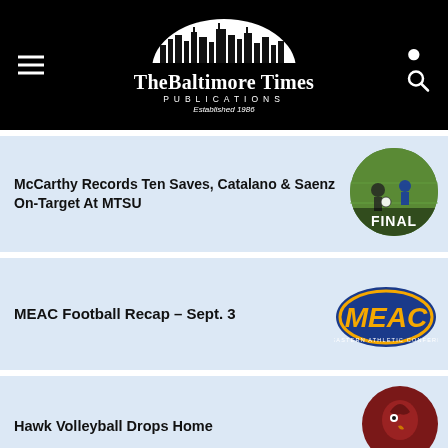The Baltimore Times Publications — Established 1986
McCarthy Records Ten Saves, Catalano & Saenz On-Target At MTSU
[Figure (photo): Soccer player kicking ball on field, circular cropped image with 'FINAL' text overlay]
MEAC Football Recap – Sept. 3
[Figure (logo): MEAC Mid-Eastern Athletic Conference logo in blue and gold]
Hawk Volleyball Drops Home
[Figure (illustration): Circular illustration of a hawk mascot in dark red/maroon]